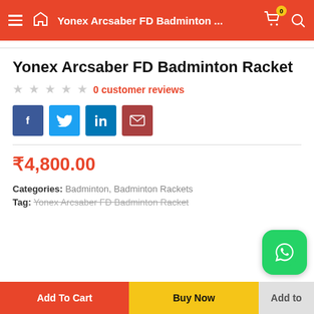Yonex Arcsaber FD Badminton ...
Yonex Arcsaber FD Badminton Racket
0 customer reviews
[Figure (other): Social share buttons: Facebook, Twitter, LinkedIn, Email]
₹4,800.00
Categories: Badminton, Badminton Rackets
Tag: Yonex Arcsaber FD Badminton Racket
[Figure (logo): WhatsApp floating button]
Add To Cart | Buy Now | Add to